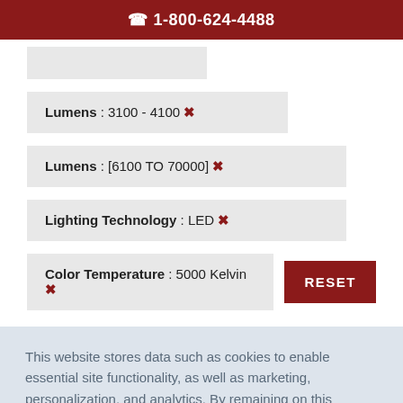1-800-624-4488
Lumens : 3100 - 4100 ✕
Lumens : [6100 TO 70000] ✕
Lighting Technology : LED ✕
Color Temperature : 5000 Kelvin ✕
This website stores data such as cookies to enable essential site functionality, as well as marketing, personalization, and analytics. By remaining on this website you indicate your consent. Privacy Policy